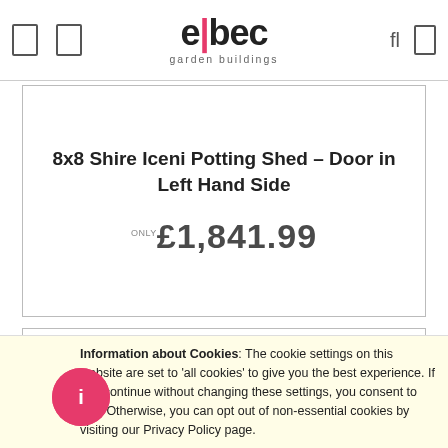elbec garden buildings
8x8 Shire Iceni Potting Shed - Door in Left Hand Side
only £1,841.99
Shop Now
Information about Cookies: The cookie settings on this website are set to 'allow all cookies' to give you the best experience. If you continue without changing these settings, you consent to this. Otherwise, you can opt out of non-essential cookies by visiting our Privacy Policy page.